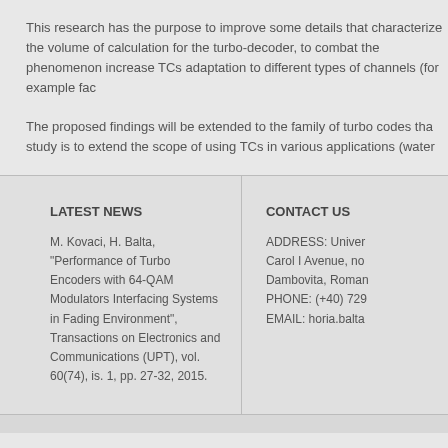This research has the purpose to improve some details that characterize the volume of calculation for the turbo-decoder, to combat the phenomenon increase TCs adaptation to different types of channels (for example fac
The proposed findings will be extended to the family of turbo codes tha study is to extend the scope of using TCs in various applications (water
LATEST NEWS
M. Kovaci, H. Balta, "Performance of Turbo Encoders with 64-QAM Modulators Interfacing Systems in Fading Environment", Transactions on Electronics and Communications (UPT), vol. 60(74), is. 1, pp. 27-32, 2015.
CONTACT US
ADDRESS: Univer Carol I Avenue, no Dambovita, Roman PHONE: (+40) 729 EMAIL: horia.balta